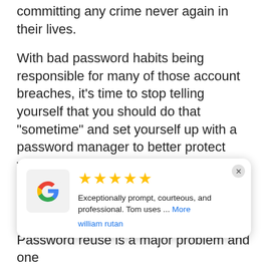becoming strict so that no one thinks about committing any crime never again in their lives.
With bad password habits being responsible for many of those account breaches, it’s time to stop telling yourself that you should do that “some­time” and set yourself up with a password manager to better protect your online accounts.
The benefits of using a password manager are as follows.
[Figure (other): Google review card with 5 yellow stars, Google logo, review text: 'Exceptionally prompt, courteous, and professional. Tom uses ... More', reviewer name: 'william rutan']
Password reuse is a major problem and one